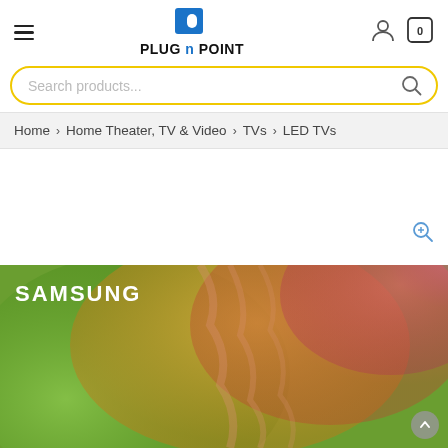PLUG n POINT — navigation header with hamburger menu, logo, user icon, and cart (0)
Search products...
Home > Home Theater, TV & Video > TVs > LED TVs
[Figure (screenshot): Samsung TV product page screenshot showing a Samsung TV with colorful abstract floral background wallpaper. SAMSUNG logo in white text on top-left corner of screen.]